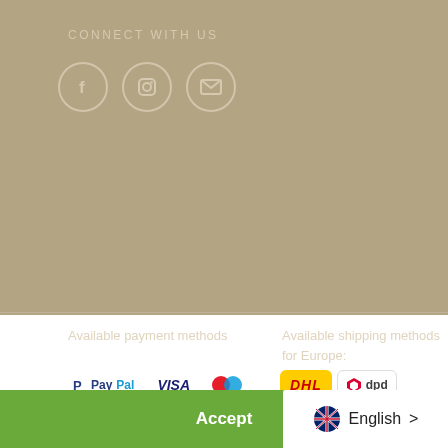CONNECT WITH US
[Figure (illustration): Social media icons: Facebook (f), Instagram (camera), Email (envelope) in circular outlines]
Available payment methods
Available shipping methods for Europe
[Figure (infographic): Payment method logos: PayPal, VISA, Maestro (two circles red/blue), Mastercard (orange/red circles), American Express (AMEX)]
[Figure (infographic): Shipping method logos: DHL (yellow/red), DPD (red/white), UPS (brown/gold shield)]
🍪 This website uses cookies to ensure you get the best experience. Learn more
Accept
English >